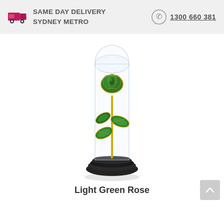SAME DAY DELIVERY SYDNEY METRO   1300 660 381
[Figure (photo): A light green rose with gold-trimmed petals and stem, displayed inside a clear glass dome cloche on a dark wooden base. The rose has green leaves with gold edges.]
Light Green Rose